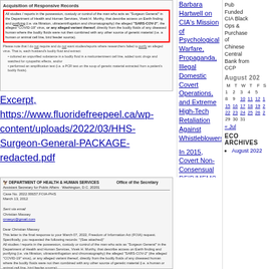[Figure (screenshot): Scanned government document excerpt with red-bordered highlighted text about SARS-COV-2 and COVID-19 virus purification studies]
Excerpt, https://www.fluoridefreepeel.ca/wp-content/uploads/2022/03/HHS-Surgeon-General-PACKAGE-redacted.pdf
[Figure (screenshot): Scanned Department of Health and Human Services FOIA response letter dated March 13, 2012, with red-bordered text stating no responsive records found]
Barbara Hartwell on CIA's Mission of Psychological Warfare, Propaganda, Illegal Domestic Covert Operations, and Extreme High-Tech Retaliation Against Whistleblowers
In 2015, Covert Non-Consensual RFID/MEMS (Microchip) Implants Are a Reality Everyone Should Know About
Is the US
Pub Funded CIA Black Ops & Purchase of Chinese Central Bank from CCP
August 202
| M | T | W | T | F | S |
| --- | --- | --- | --- | --- | --- |
| 1 | 2 | 3 | 4 | 5 |  |
| 8 | 9 | 10 | 11 | 12 |  |
| 15 | 16 | 17 | 18 | 19 |  |
| 22 | 23 | 24 | 25 | 26 |  |
| 29 | 30 | 31 |  |  |  |
« Jul
ECO ARCHIVES
August 2022